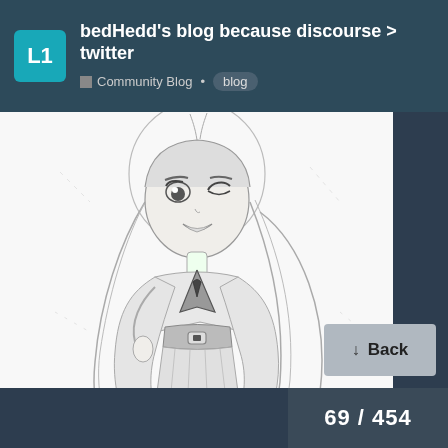bedHedd's blog because discourse > twitter
Community Blog • blog
[Figure (illustration): Pencil sketch of a chibi-style anime girl character with long hair, wearing a sailor-style school uniform with a bow, thigh-high stockings, and small shoes. The character is smiling with one eye closed in a cute pose.]
69 / 454